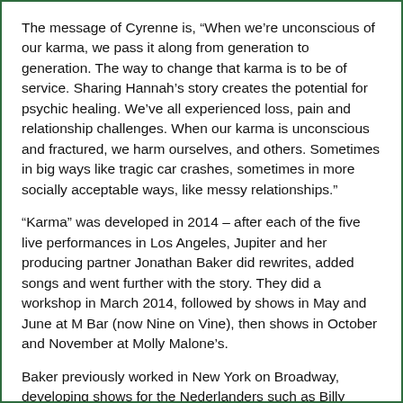The message of Cyrenne is, “When we’re unconscious of our karma, we pass it along from generation to generation. The way to change that karma is to be of service. Sharing Hannah’s story creates the potential for psychic healing. We’ve all experienced loss, pain and relationship challenges. When our karma is unconscious and fractured, we harm ourselves, and others. Sometimes in big ways like tragic car crashes, sometimes in more socially acceptable ways, like messy relationships.”
“Karma” was developed in 2014 – after each of the five live performances in Los Angeles, Jupiter and her producing partner Jonathan Baker did rewrites, added songs and went further with the story. They did a workshop in March 2014, followed by shows in May and June at M Bar (now Nine on Vine), then shows in October and November at Molly Malone’s.
Baker previously worked in New York on Broadway, developing shows for the Nederlanders such as Billy Joel’s MOVIN’ OUT, produced shows at Joe’s Pub at the Public Theater, and worked at Sony Pictures in feature film on over 40 movies including Big Fish, Adaptation and Lords of Dogtown. He also teaches entertainment economics and producing for Carnegie Mellon University.